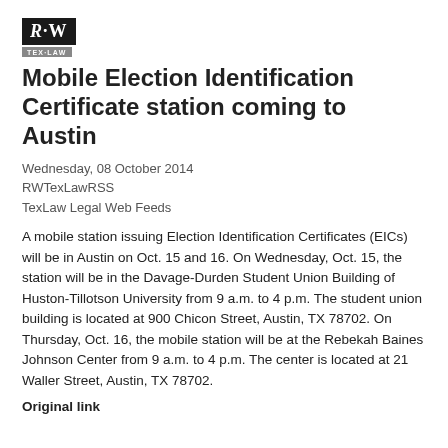[Figure (logo): RW TexLaw logo: black box with stylized R·W lettering, with a grey banner reading TEX-LAW below]
Mobile Election Identification Certificate station coming to Austin
Wednesday, 08 October 2014
RWTexLawRSS
TexLaw Legal Web Feeds
A mobile station issuing Election Identification Certificates (EICs) will be in Austin on Oct. 15 and 16. On Wednesday, Oct. 15, the station will be in the Davage-Durden Student Union Building of Huston-Tillotson University from 9 a.m. to 4 p.m. The student union building is located at 900 Chicon Street, Austin, TX 78702. On Thursday, Oct. 16, the mobile station will be at the Rebekah Baines Johnson Center from 9 a.m. to 4 p.m. The center is located at 21 Waller Street, Austin, TX 78702.
Original link